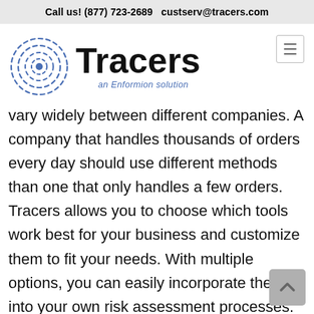Call us! (877) 723-2689  custserv@tracers.com
[Figure (logo): Tracers logo: concentric dashed circles icon on left, large bold 'Tracers' wordmark on right, with 'an Enformion solution' tagline in blue italic below]
vary widely between different companies. A company that handles thousands of orders every day should use different methods than one that only handles a few orders. Tracers allows you to choose which tools work best for your business and customize them to fit your needs. With multiple options, you can easily incorporate them into your own risk assessment processes.